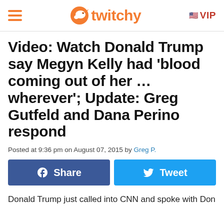twitchy | VIP
Video: Watch Donald Trump say Megyn Kelly had 'blood coming out of her … wherever'; Update: Greg Gutfeld and Dana Perino respond
Posted at 9:36 pm on August 07, 2015 by Greg P.
[Figure (other): Facebook Share button and Twitter Tweet button]
Donald Trump just called into CNN and spoke with Don